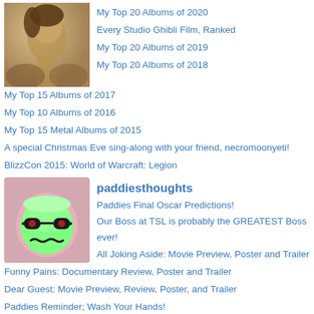[Figure (photo): Sepia-toned photo of a woman looking to the side]
My Top 20 Albums of 2020
Every Studio Ghibli Film, Ranked
My Top 20 Albums of 2019
My Top 20 Albums of 2018
My Top 15 Albums of 2017
My Top 10 Albums of 2016
My Top 15 Metal Albums of 2015
A special Christmas Eve sing-along with your friend, necromoonyeti!
BlizzCon 2015: World of Warcraft: Legion
[Figure (illustration): Green blob character with sunglasses and squiggly mouth on pink background]
paddiesthoughts
Paddies Final Oscar Predictions!
Our Boss at TSL is probably the GREATEST Boss ever!
All Joking Aside: Movie Preview, Poster and Trailer
Funny Pains: Documentary Review, Poster and Trailer
Dear Guest: Movie Preview, Review, Poster, and Trailer
Paddies Reminder; Wash Your Hands!
Wives Of The Skies: Preview and Trailer
New Movie Posters for you to see (With trailers included!)